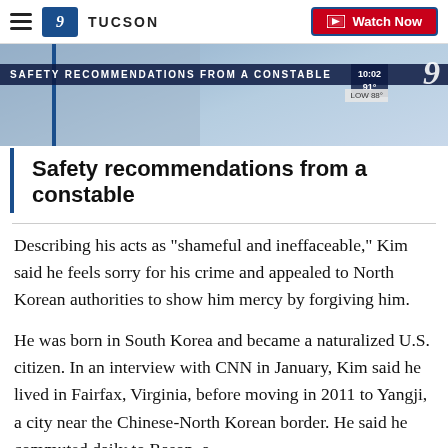KGUN9 TUCSON | Watch Now
[Figure (screenshot): News video thumbnail showing 'SAFETY RECOMMENDATIONS FROM A CONSTABLE' banner with weather info (91°) and channel 9 logo]
Safety recommendations from a constable
Describing his acts as "shameful and ineffaceable," Kim said he feels sorry for his crime and appealed to North Korean authorities to show him mercy by forgiving him.
He was born in South Korea and became a naturalized U.S. citizen. In an interview with CNN in January, Kim said he lived in Fairfax, Virginia, before moving in 2011 to Yangji, a city near the Chinese-North Korean border. He said he commuted daily to Rason, a